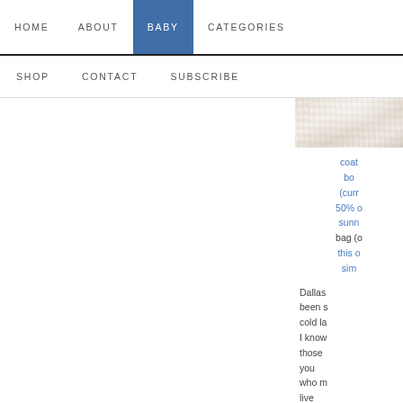HOME  ABOUT  BABY  CATEGORIES
SHOP  CONTACT  SUBSCRIBE
[Figure (photo): Close-up photo of a light-colored textured fabric or rug with fluffy/shaggy surface in beige and white tones]
coat bo (curr 50% o sunn bag (o this o sim
Dallas been s cold la I know those you who m live